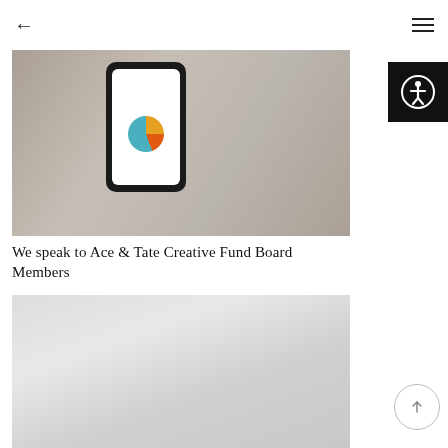← (back arrow) and hamburger menu icon
[Figure (photo): A hand holding a smartphone displaying an app with colorful circular graphic, set against a blurred background]
We speak to Ace & Tate Creative Fund Board Members
[Figure (photo): Interior space photograph, light and airy, blurred/out of focus]
[Figure (other): Accessibility icon button in black square (person with circle outline)]
[Figure (other): Scroll to top circular button with upward arrow]